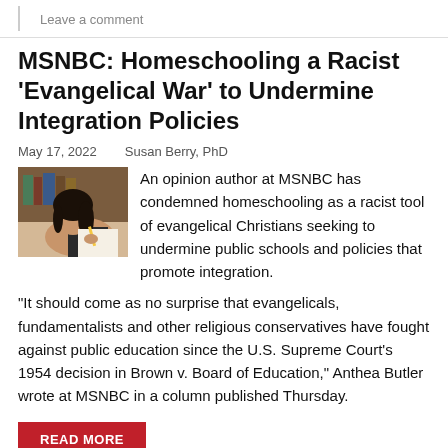Leave a comment
MSNBC: Homeschooling a Racist 'Evangelical War' to Undermine Integration Policies
May 17, 2022   Susan Berry, PhD
[Figure (photo): Photo of a young woman with long dark hair writing at a desk, with bookshelves in the background.]
An opinion author at MSNBC has condemned homeschooling as a racist tool of evangelical Christians seeking to undermine public schools and policies that promote integration.
“It should come as no surprise that evangelicals, fundamentalists and other religious conservatives have fought against public education since the U.S. Supreme Court’s 1954 decision in Brown v. Board of Education,” Anthea Butler wrote at MSNBC in a column published Thursday.
READ MORE